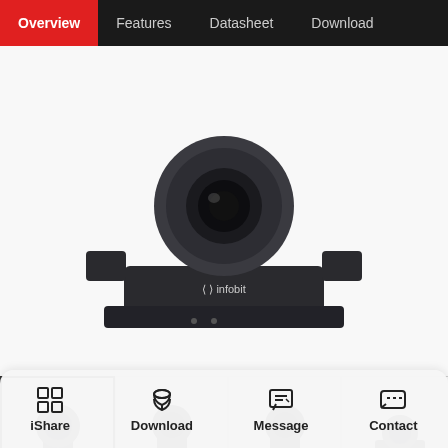Overview | Features | Datasheet | Download
[Figure (photo): Large PTZ camera product photo (infobit branded) on white background, front-facing view showing camera head on mount]
[Figure (photo): Thumbnail 1: PTZ camera front-left angle view (selected/active)]
[Figure (photo): Thumbnail 2: PTZ camera front view dark background]
[Figure (photo): Thumbnail 3: PTZ camera front-right angle view]
[Figure (photo): Thumbnail 4: PTZ camera rear/top angle view with up arrow button overlay]
HFOV 71°, 20x Optical + 16x Digital Zoom
1080P Full HD: High-quality HD CMOS sensor with 2.07 million effective pixels
USB port for uncompressed video output, UVC v1.5
iShare | Download | Message | Contact